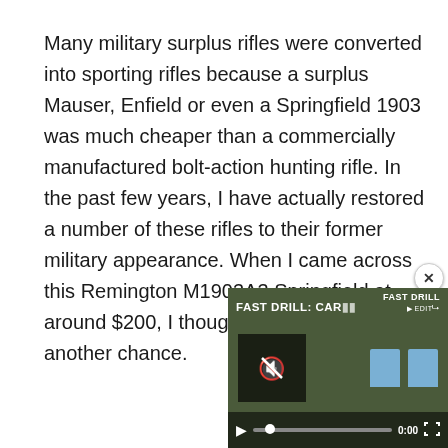Many military surplus rifles were converted into sporting rifles because a surplus Mauser, Enfield or even a Springfield 1903 was much cheaper than a commercially manufactured bolt-action hunting rifle. In the past few years, I have actually restored a number of these rifles to their former military appearance. When I came across this Remington M1903A3 Springfield at around $200, I thought I would take another chance.
[Figure (screenshot): Embedded video player showing 'FAST DRILL: CAR...' with play controls, mute button, timestamp 0:00, and two blue target shapes visible in the video frame. A close (x) button appears in the top-right corner of the player.]